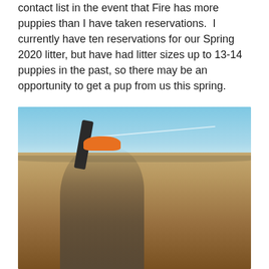contact list in the event that Fire has more puppies than I have taken reservations.  I currently have ten reservations for our Spring 2020 litter, but have had litter sizes up to 13-14 puppies in the past, so there may be an opportunity to get a pup from us this spring.
[Figure (photo): A man wearing an orange hunting cap and carrying a rifle over his shoulder, standing in an open prairie field with a wide blue sky behind him. He is dressed in camouflage/hunting gear.]